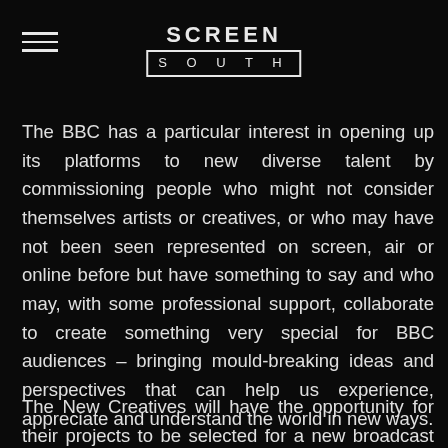SCREEN SOUTH
The BBC has a particular interest in opening up its platforms to new diverse talent by commissioning people who might not consider themselves artists or creatives, or who may have not been seen represented on screen, air or online before but have something to say and who may, with some professional support, collaborate to create something very special for BBC audiences – bringing mould-breaking ideas and perspectives that can help us experience, appreciate and understand the world in new ways.
The New Creatives will have the opportunity for their projects to be selected for a new broadcast strand BBC